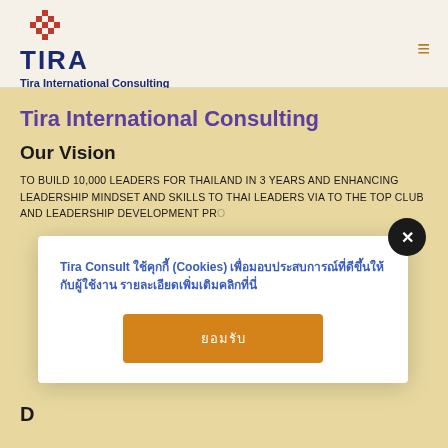Tira International Consulting
Tira International Consulting
Our Vision
To build 10,000 leaders for Thailand in 3 years and enhancing leadership mindset and skills to Thai Leaders via To The Top Club and Leadership Development Pro...
Tira Consult ใช้คุกกี้ (Cookies) เพื่อมอบประสบการณ์ที่ดีขึ้นให้กับผู้ใช้งาน รายละเอียดเพิ่มเติมคลิกที่นี่
ยอมรับ
D